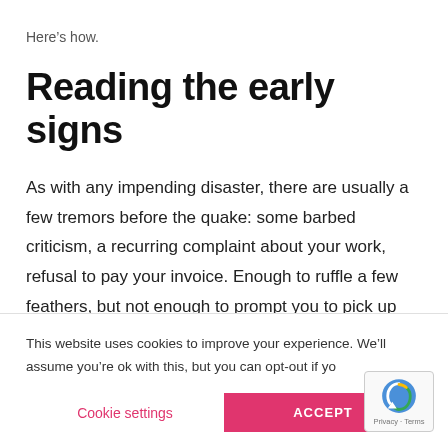Here’s how.
Reading the early signs
As with any impending disaster, there are usually a few tremors before the quake: some barbed criticism, a recurring complaint about your work, refusal to pay your invoice. Enough to ruffle a few feathers, but not enough to prompt you to pick up
This website uses cookies to improve your experience. We’ll assume you’re ok with this, but you can opt-out if yo
Cookie settings
ACCEPT